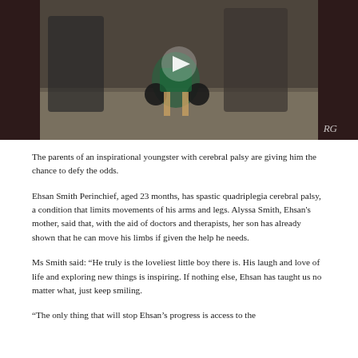[Figure (photo): Video thumbnail showing a child in a small wheelchair/mobility device surrounded by adults, with a play button overlay. 'RG' watermark in bottom right corner.]
The parents of an inspirational youngster with cerebral palsy are giving him the chance to defy the odds.
Ehsan Smith Perinchief, aged 23 months, has spastic quadriplegia cerebral palsy, a condition that limits movements of his arms and legs. Alyssa Smith, Ehsan's mother, said that, with the aid of doctors and therapists, her son has already shown that he can move his limbs if given the help he needs.
Ms Smith said: “He truly is the loveliest little boy there is. His laugh and love of life and exploring new things is inspiring. If nothing else, Ehsan has taught us no matter what, just keep smiling.
“The only thing that will stop Ehsan’s progress is access to the